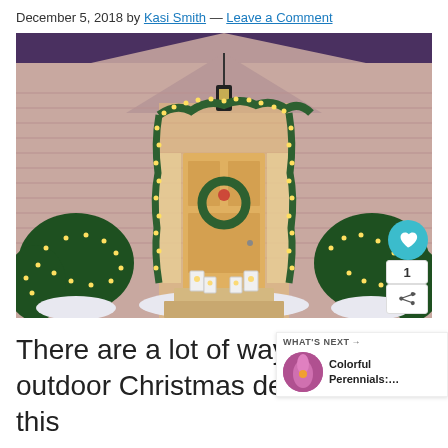December 5, 2018 by Kasi Smith — Leave a Comment
[Figure (photo): A house front door decorated with Christmas lights, garland, and a wreath. White lanterns line the steps. Bushes with fairy lights surround the entrance. Warm golden light illuminates the scene.]
There are a lot of ways to crea outdoor Christmas decorations this